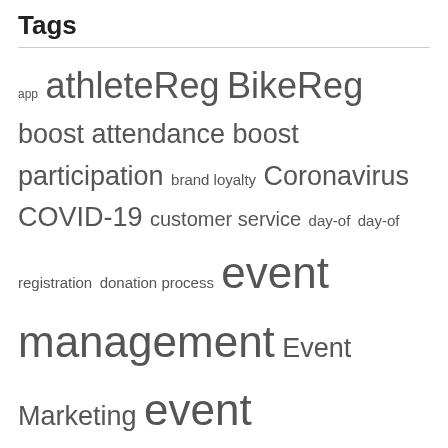Tags
app athleteReg BikeReg boost attendance boost participation brand loyalty Coronavirus COVID-19 customer service day-of day-of registration donation process event management Event Marketing event production event_director fundraising Help Page Knowledgebase LiveReg marketing marketing tools participants participant tools past participants peer_to_peer PledgeReg promote promoter capabilities Promoter Newsletter promoters promoter tools Referral Codes Referral program registration registration management Returnees Reporting